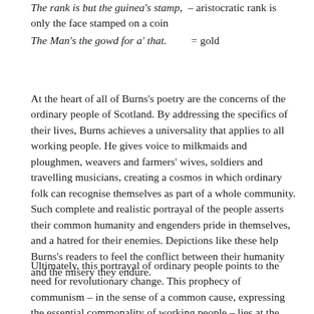The rank is but the guinea's stamp, – aristocratic rank is only the face stamped on a coin
The Man's the gowd for a' that.        = gold
At the heart of all of Burns's poetry are the concerns of the ordinary people of Scotland. By addressing the specifics of their lives, Burns achieves a universality that applies to all working people. He gives voice to milkmaids and ploughmen, weavers and farmers' wives, soldiers and travelling musicians, creating a cosmos in which ordinary folk can recognise themselves as part of a whole community. Such complete and realistic portrayal of the people asserts their common humanity and engenders pride in themselves, and a hatred for their enemies. Depictions like these help Burns's readers to feel the conflict between their humanity and the misery they endure.
Ultimately, this portrayal of ordinary people points to the need for revolutionary change. This prophecy of communism – in the sense of a common cause, expressing the essential commonality of working people – lies at the core of Burns's poetry, and is perhaps most